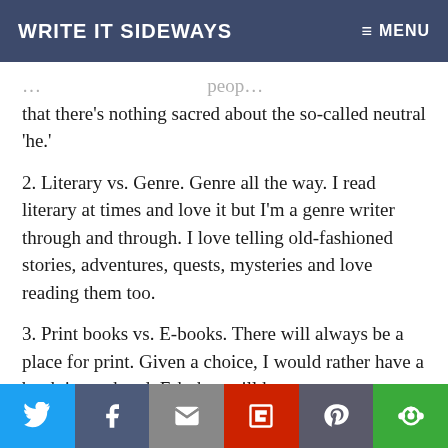WRITE IT SIDEWAYS   ≡ MENU
…that there's nothing sacred about the so-called neutral 'he.'
2. Literary vs. Genre. Genre all the way. I read literary at times and love it but I'm a genre writer through and through. I love telling old-fashioned stories, adventures, quests, mysteries and love reading them too.
3. Print books vs. E-books. There will always be a place for print. Given a choice, I would rather have a book in my hand. E-bokos will however…
[Figure (infographic): Social sharing bar with Twitter (blue), Facebook (dark blue-grey), Email (grey), Flipboard (red), Pinterest (dark grey), and More (green) buttons]